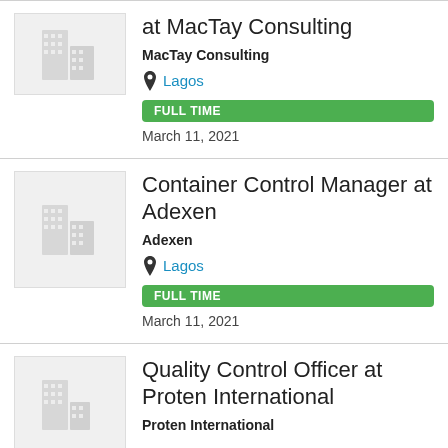at MacTay Consulting | MacTay Consulting | Lagos | FULL TIME | March 11, 2021
Container Control Manager at Adexen | Adexen | Lagos | FULL TIME | March 11, 2021
Quality Control Officer at Proten International | Proten International